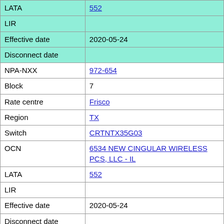| Field | Value |
| --- | --- |
| LATA | 552 |
| LIR |  |
| Effective date | 2020-05-24 |
| Disconnect date |  |
| NPA-NXX | 972-654 |
| Block | 7 |
| Rate centre | Frisco |
| Region | TX |
| Switch | CRTNTX35G03 |
| OCN | 6534 NEW CINGULAR WIRELESS PCS, LLC - IL |
| LATA | 552 |
| LIR |  |
| Effective date | 2020-05-24 |
| Disconnect date |  |
| NPA-NXX | 972-654 |
| Block | 8 |
| Rate centre | Frisco |
| Region | TX |
| Switch | CRTNTX35G03 |
| OCN | 6534 NEW CINGULAR WIRELESS PCS, LLC - IL |